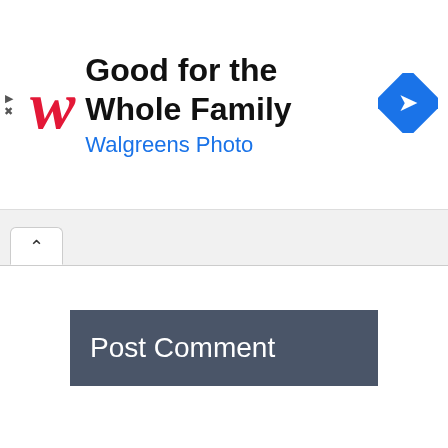[Figure (infographic): Walgreens Photo advertisement banner with Walgreens logo (red italic W), text 'Good for the Whole Family' and 'Walgreens Photo', and a blue diamond navigation icon on the right. Small play and close (X) controls on the far left.]
[Figure (screenshot): Browser tab indicator showing an up-caret (^) tab button in active white state.]
Post Comment
Search ...